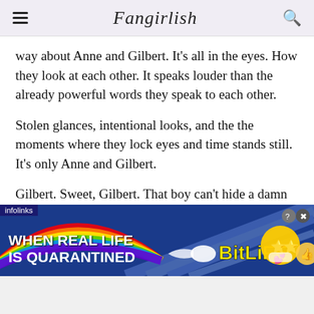Fangirlish
way about Anne and Gilbert. It's all in the eyes. How they look at each other. It speaks louder than the already powerful words they speak to each other.
Stolen glances, intentional looks, and the the moments where they lock eyes and time stands still. It's only Anne and Gilbert.
Gilbert. Sweet, Gilbert. That boy can't hide a damn thing he's feeling. And we know he was crushing on Anne from the moment he met her. From that moment, there's been a constant look of awe and
[Figure (screenshot): BitLife advertisement banner with rainbow background. Text reads: WHEN REAL LIFE IS QUARANTINED → BitLife with emoji characters. infolinks label at top left.]